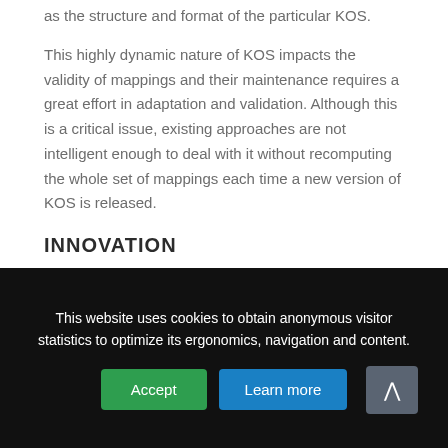as the structure and format of the particular KOS.
This highly dynamic nature of KOS impacts the validity of mappings and their maintenance requires a great effort in adaptation and validation. Although this is a critical issue, existing approaches are not intelligent enough to deal with it without recomputing the whole set of mappings each time a new version of KOS is released.
INNOVATION
DynaMO aims to develop and propose a new method of mapping maintenance. The objective is to provide a tool-supported formal
This website uses cookies to obtain anonymous visitor statistics to optimize its ergonomics, navigation and content.